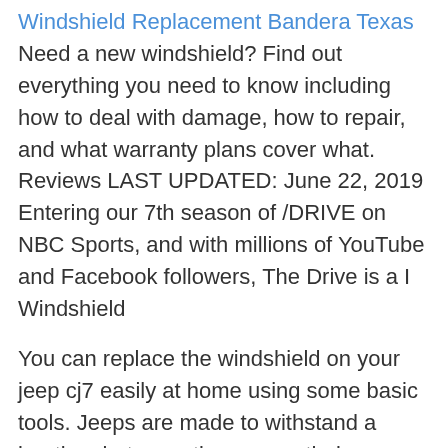Windshield Replacement Bandera Texas Need a new windshield? Find out everything you need to know including how to deal with damage, how to repair, and what warranty plans cover what. Reviews LAST UPDATED: June 22, 2019 Entering our 7th season of /DRIVE on NBC Sports, and with millions of YouTube and Facebook followers, The Drive is a I Windshield
You can replace the windshield on your jeep cj7 easily at home using some basic tools. Jeeps are made to withstand a beating, but sometimes even their very sturdy windshields may get chips or cracks in them and require replacement. This job should only take about an hour of your time. Visit your loc
John Deere 9500 Windshield Replacement 2004